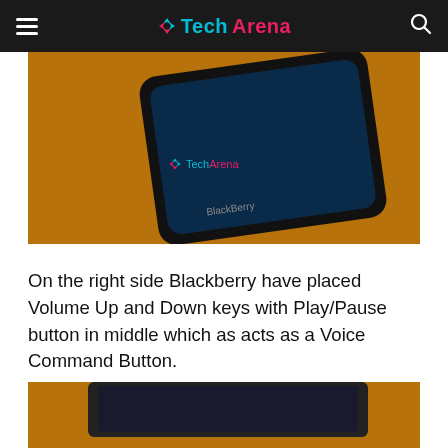TechArena
[Figure (photo): BlackBerry smartphone lying on a wooden surface, top portion visible, with TechArena watermark overlay]
On the right side Blackberry have placed Volume Up and Down keys with Play/Pause button in middle which as acts as a Voice Command Button.
[Figure (photo): BlackBerry smartphone on wooden surface, bottom portion of device visible]